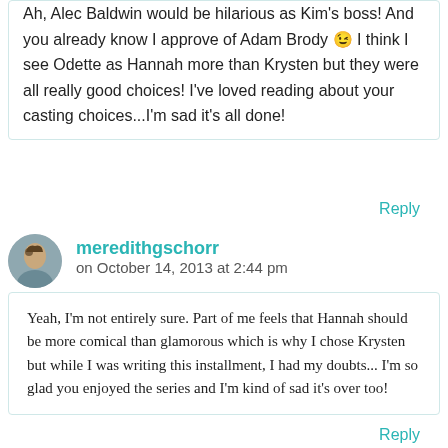Ah, Alec Baldwin would be hilarious as Kim's boss! And you already know I approve of Adam Brody 😉 I think I see Odette as Hannah more than Krysten but they were all really good choices! I've loved reading about your casting choices...I'm sad it's all done!
Reply
meredithgschorr on October 14, 2013 at 2:44 pm
Yeah, I'm not entirely sure. Part of me feels that Hannah should be more comical than glamorous which is why I chose Krysten but while I was writing this installment, I had my doubts... I'm so glad you enjoyed the series and I'm kind of sad it's over too!
Reply